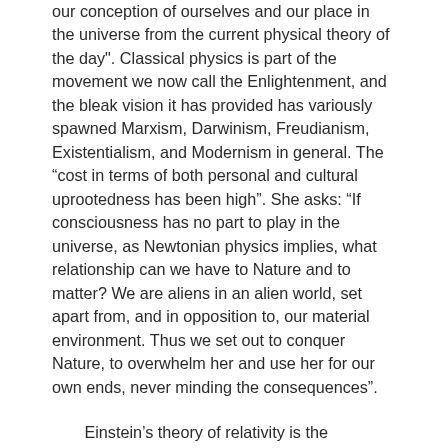our conception of ourselves and our place in the universe from the current physical theory of the day". Classical physics is part of the movement we now call the Enlightenment, and the bleak vision it has provided has variously spawned Marxism, Darwinism, Freudianism, Existentialism, and Modernism in general. The “cost in terms of both personal and cultural uprootedness has been high”. She asks: “If consciousness has no part to play in the universe, as Newtonian physics implies, what relationship can we have to Nature and to matter? We are aliens in an alien world, set apart from, and in opposition to, our material environment. Thus we set out to conquer Nature, to overwhelm her and use her for our own ends, never minding the consequences”.
Einstein’s theory of relativity is the beginning of post-Newtonian physics, but “is not likely to lead to a new world-view… It plays itself out on a cosmological scale and has virtually no application in our everyday, earth-